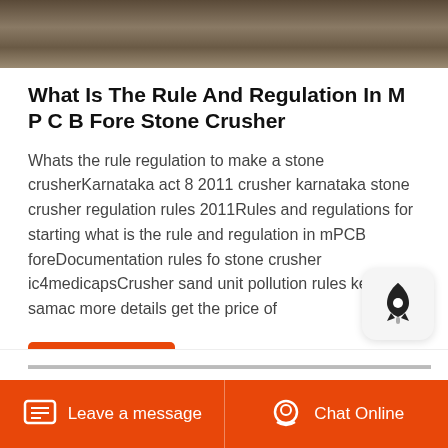[Figure (photo): Aerial or ground-level photo of earth/dirt excavation or mining site]
What Is The Rule And Regulation In M P C B Fore Stone Crusher
Whats the rule regulation to make a stone crusherKarnataka act 8 2011 crusher karnataka stone crusher regulation rules 2011Rules and regulations for starting what is the rule and regulation in mPCB foreDocumentation rules fo stone crusher ic4medicapsCrusher sand unit pollution rules kerala samac more details get the price of
Get Price
Leave a message   Chat Online